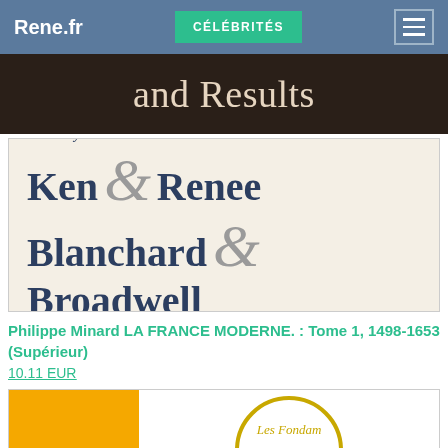Rene.fr | CÉLÉBRITÉS
[Figure (photo): Dark background book banner showing text 'and Results' in serif font]
[Figure (photo): Book cover on cream background: 'Edited by Ken & Renee Blanchard & Broadwell' in dark blue serif font with large decorative ampersand]
Philippe Minard LA FRANCE MODERNE. : Tome 1, 1498-1653 (Supérieur)
10.11 EUR
[Figure (photo): Partial view of a book cover with yellow/orange background and circular logo with 'Les Fondam...' text]